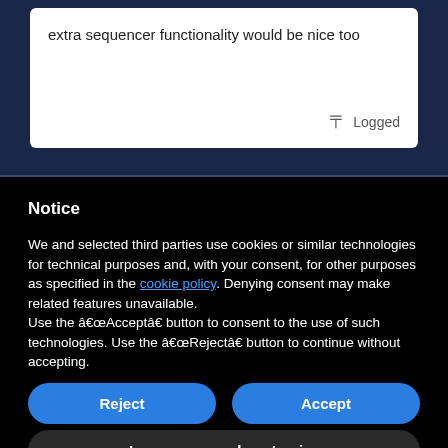extra sequencer functionality would be nice too
Logged
Notice
We and selected third parties use cookies or similar technologies for technical purposes and, with your consent, for other purposes as specified in the cookie policy. Denying consent may make related features unavailable.
Use the â€œAcceptâ€� button to consent to the use of such technologies. Use the â€œRejectâ€� button to continue without accepting.
Reject
Accept
Learn more and customize